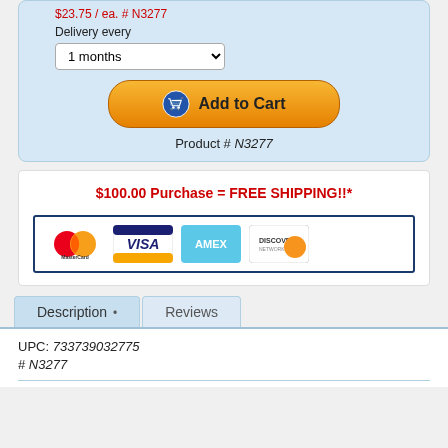$23.75 / ea. # N3277
Delivery every
1 months
Add to Cart
Product # N3277
$100.00 Purchase = FREE SHIPPING!!*
[Figure (other): Payment method logos: MasterCard, Visa, AMEX, Discover]
Description • Reviews
UPC: 733739032775
# N3277